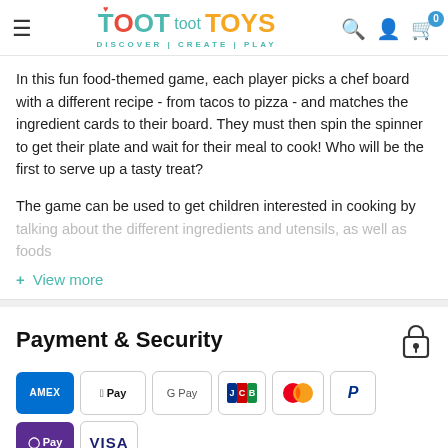Toot Toot Toys — DISCOVER | CREATE | PLAY
In this fun food-themed game, each player picks a chef board with a different recipe - from tacos to pizza - and matches the ingredient cards to their board. They must then spin the spinner to get their plate and wait for their meal to cook! Who will be the first to serve up a tasty treat?
The game can be used to get children interested in cooking by talking about the different ingredients and utensils, as well as foods
+ View more
Payment & Security
[Figure (logo): Payment method logos: American Express, Apple Pay, Google Pay, JCB, Mastercard, PayPal, O Pay, VISA]